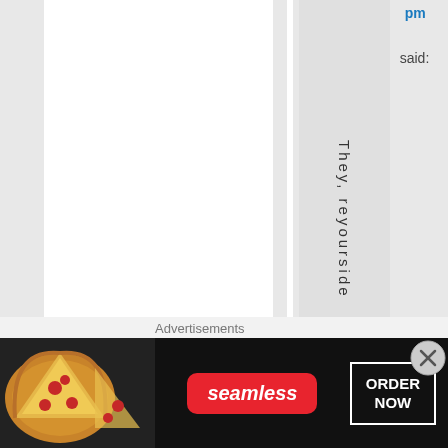pm
said:
They, reyourside
Advertisements
[Figure (illustration): Seamless food delivery advertisement banner showing pizza slices on the left, Seamless logo in red badge in the center, and ORDER NOW in a white-bordered box on the right, against a dark background.]